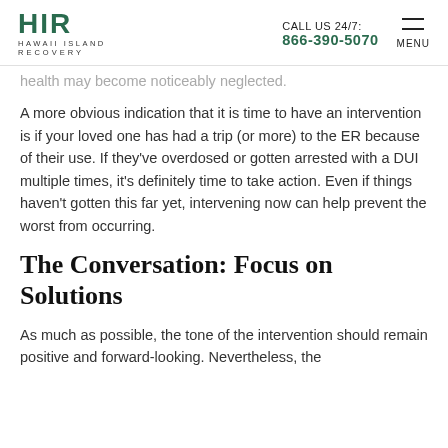HIR HAWAII ISLAND RECOVERY | CALL US 24/7: 866-390-5070 | MENU
health may become noticeably neglected.
A more obvious indication that it is time to have an intervention is if your loved one has had a trip (or more) to the ER because of their use. If they've overdosed or gotten arrested with a DUI multiple times, it's definitely time to take action. Even if things haven't gotten this far yet, intervening now can help prevent the worst from occurring.
The Conversation: Focus on Solutions
As much as possible, the tone of the intervention should remain positive and forward-looking. Nevertheless, the